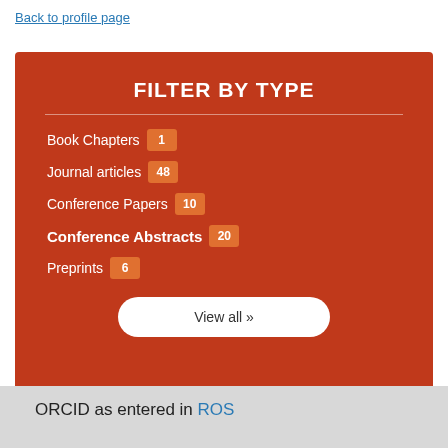Back to profile page
FILTER BY TYPE
Book Chapters 1
Journal articles 48
Conference Papers 10
Conference Abstracts 20
Preprints 6
View all »
ORCID as entered in ROS